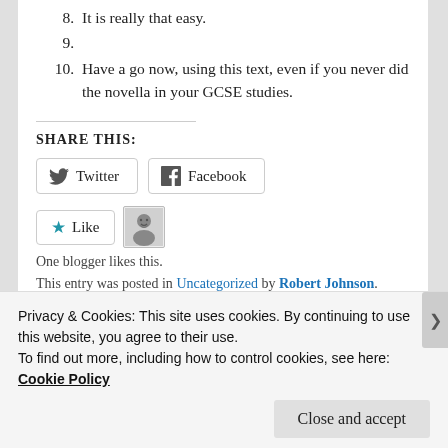8. It is really that easy.
9.
10. Have a go now, using this text, even if you never did the novella in your GCSE studies.
SHARE THIS:
Twitter  Facebook
Like  [avatar]
One blogger likes this.
This entry was posted in Uncategorized by Robert Johnson.
Privacy & Cookies: This site uses cookies. By continuing to use this website, you agree to their use. To find out more, including how to control cookies, see here: Cookie Policy